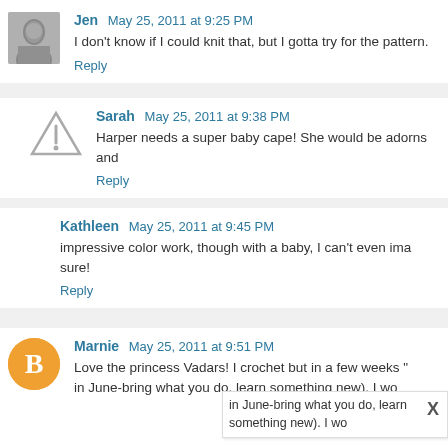[Figure (photo): Avatar photo of Jen - grayscale portrait]
Jen May 25, 2011 at 9:25 PM
I don't know if I could knit that, but I gotta try for the pattern.
Reply
[Figure (illustration): Warning triangle icon avatar for Sarah]
Sarah May 25, 2011 at 9:38 PM
Harper needs a super baby cape! She would be adorns and
Reply
Kathleen May 25, 2011 at 9:45 PM
impressive color work, though with a baby, I can't even ima sure!
Reply
[Figure (logo): Blogger orange circle B logo avatar for Marnie]
Marnie May 25, 2011 at 9:51 PM
Love the princess Vadars! I crochet but in a few weeks " in June-bring what you do, learn something new). I wo X